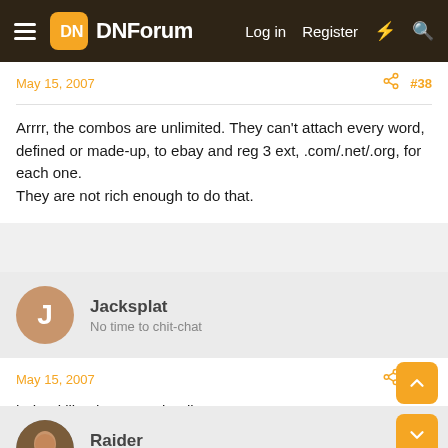DNForum — Log in  Register
May 15, 2007  #38
Arrrr, the combos are unlimited. They can't attach every word, defined or made-up, to ebay and reg 3 ext, .com/.net/.org, for each one.
They are not rich enough to do that.
Jacksplat
No time to chit-chat
May 15, 2007  #39
hehe, i like the scenario Alien. very true.
Raider
Level 9